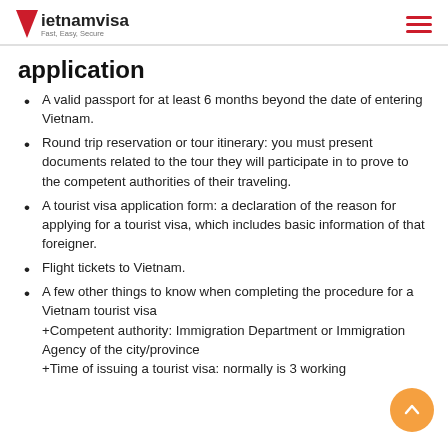vietnamvisa Fast, Easy, Secure
application
A valid passport for at least 6 months beyond the date of entering Vietnam.
Round trip reservation or tour itinerary: you must present documents related to the tour they will participate in to prove to the competent authorities of their traveling.
A tourist visa application form: a declaration of the reason for applying for a tourist visa, which includes basic information of that foreigner.
Flight tickets to Vietnam.
A few other things to know when completing the procedure for a Vietnam tourist visa
+Competent authority: Immigration Department or Immigration Agency of the city/province
+Time of issuing a tourist visa: normally is 3 working